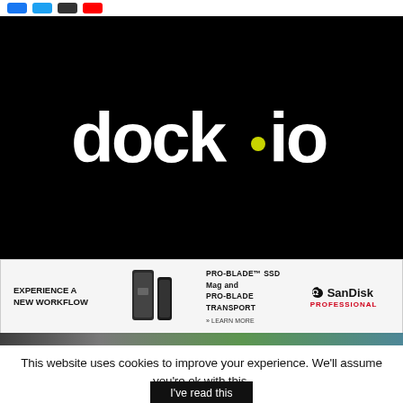[Figure (logo): dock.io logo in white text on black background with a green dot between 'dock' and 'io']
[Figure (other): SanDisk Professional advertisement banner: EXPERIENCE A NEW WORKFLOW, PRO-BLADE SSD Mag and PRO-BLADE TRANSPORT, LEARN MORE, with product images and SanDisk Professional logo]
This website uses cookies to improve your experience. We'll assume you're ok with this.
I've read this